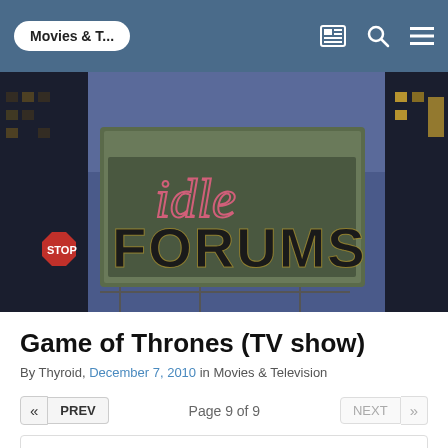Movies & T...
[Figure (illustration): Idle Forums banner image showing a stylized city scene with a billboard reading 'idle FORUMS' in large letters, with a stop sign visible on the left side. Dark urban background with yellow and blue tones.]
Game of Thrones (TV show)
By Thyroid, December 7, 2010 in Movies & Television
« PREV   Page 9 of 9   NEXT »
Cbirdsong
Posted August 21, 2017